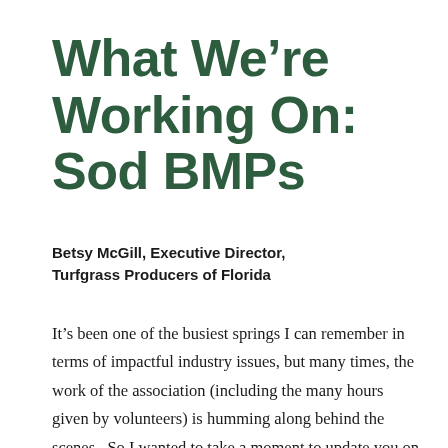What We're Working On: Sod BMPs
Betsy McGill, Executive Director, Turfgrass Producers of Florida
It's been one of the busiest springs I can remember in terms of impactful industry issues, but many times, the work of the association (including the many hours given by volunteers) is humming along behind the scenes.  So I wanted to take a moment to update you on some of the